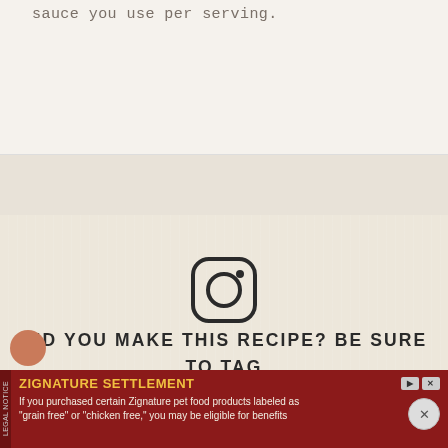sauce you use per serving.
[Figure (illustration): Instagram camera icon — rounded square outline with circle in center and small circle dot in upper right]
DID YOU MAKE THIS RECIPE? BE SURE TO TAG @GATHEREDNUTRITION ON INSTAGRAM SO I CAN SEE WHAT YOU MADE! LEAVING A RATING AND REVIEW ON THE SITE IS A HUGE HELP TOO!
ZIGNATURE SETTLEMENT
If you purchased certain Zignature pet food products labeled as "grain free" or "chicken free," you may be eligible for benefits